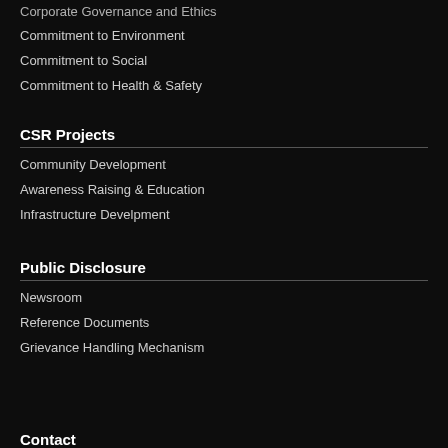Corporate Governance and Ethics
Commitment to Environment
Commitment to Social
Commitment to Health & Safety
CSR Projects
Community Development
Awareness Raising & Education
Infrastructure Develpment
Public Disclosure
Newsroom
Reference Documents
Grievance Handling Mechanism
Contact